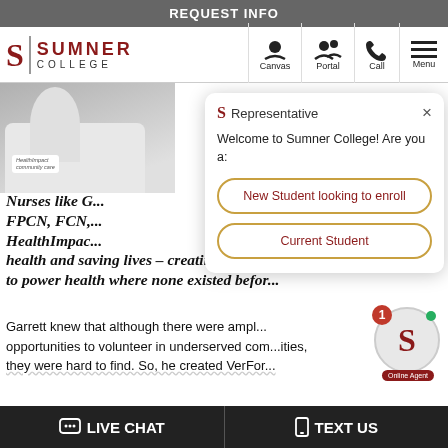REQUEST INFO
[Figure (screenshot): Sumner College navigation bar with logo, Canvas, Portal, Call, and Menu icons]
[Figure (photo): Person wearing white coat with HealthImpact badge]
Nurses like G... FPCN, FCN,... HealthImpac... health and saving lives – creating entirely new platforms to power health where none existed befor...
[Figure (screenshot): Chat popup with Representative header showing options: New Student looking to enroll, Current Student. Close X button visible.]
Garrett knew that although there were ample opportunities to volunteer in underserved communities, they were hard to find. So, he created VerFor...
LIVE CHAT   TEXT US